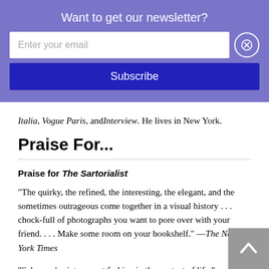Want to get our newsletter?
Enter your email
Subscribe
Italia, Vogue Paris, and Interview. He lives in New York.
Praise For...
Praise for The Sartorialist
“The quirky, the refined, the interesting, the elegant, and the sometimes outrageous come together in a visual history . . . chock-full of photographs you want to pore over with your friend. . . . Make some room on your bookshelf.” —The New York Times
“Schuman’s pictures put fashion in the context of life.” —